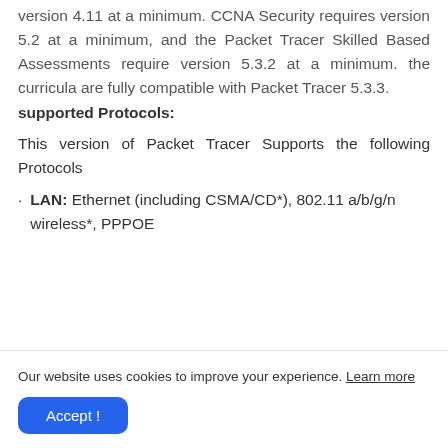version 4.11 at a minimum. CCNA Security requires version 5.2 at a minimum, and the Packet Tracer Skilled Based Assessments require version 5.3.2 at a minimum. the curricula are fully compatible with Packet Tracer 5.3.3.
supported Protocols:
This version of Packet Tracer Supports the following Protocols
LAN: Ethernet (including CSMA/CD*), 802.11 a/b/g/n wireless*, PPPOE
Our website uses cookies to improve your experience. Learn more
Accept !